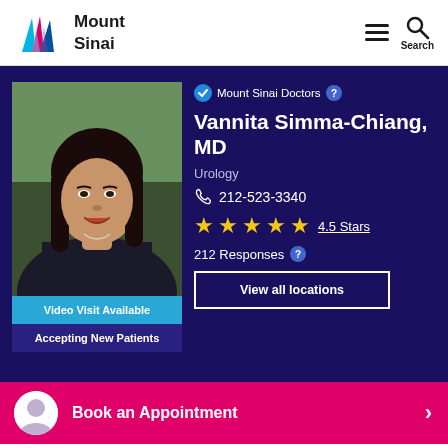[Figure (logo): Mount Sinai logo with stylized mountain shape in blue, pink, and cyan colors, and text 'Mount Sinai']
Mount Sinai Doctors
Vannita Simma-Chiang, MD
Urology
212-523-3340
4.5 Stars
212 Responses
View all locations
[Figure (photo): Professional headshot of Dr. Vannita Simma-Chiang, an Asian woman with long dark hair, smiling, wearing a dark blazer]
Video Visit Available
Accepting New Patients
Book an Appointment